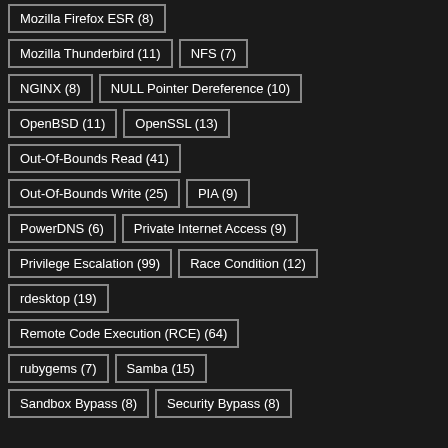Mozilla Firefox ESR (8)
Mozilla Thunderbird (11)
NFS (7)
NGINX (8)
NULL Pointer Dereference (10)
OpenBSD (11)
OpenSSL (13)
Out-Of-Bounds Read (41)
Out-Of-Bounds Write (25)
PIA (9)
PowerDNS (6)
Private Internet Access (9)
Privilege Escalation (99)
Race Condition (12)
rdesktop (19)
Remote Code Execution (RCE) (64)
rubygems (7)
Samba (15)
Sandbox Bypass (8)
Security Bypass (8)